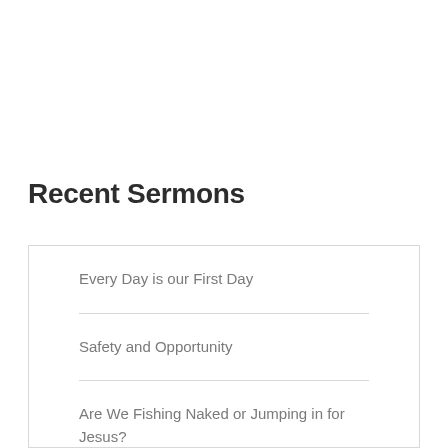Recent Sermons
Every Day is our First Day
Safety and Opportunity
Are We Fishing Naked or Jumping in for Jesus?